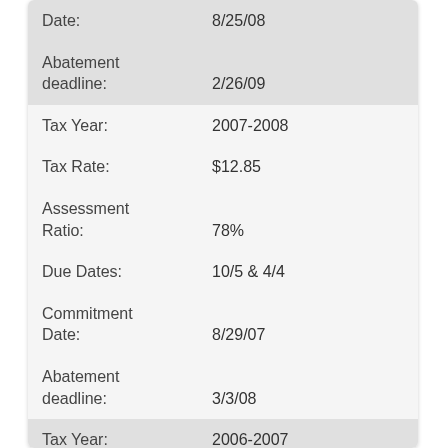| Field | Value |
| --- | --- |
| Date: | 8/25/08 |
| Abatement deadline: | 2/26/09 |
| Tax Year: | 2007-2008 |
| Tax Rate: | $12.85 |
| Assessment Ratio: | 78% |
| Due Dates: | 10/5 & 4/4 |
| Commitment Date: | 8/29/07 |
| Abatement deadline: | 3/3/08 |
| Tax Year: | 2006-2007 |
| Tax Rate: | $12.05 |
| Assessment Ratio: | 78% |